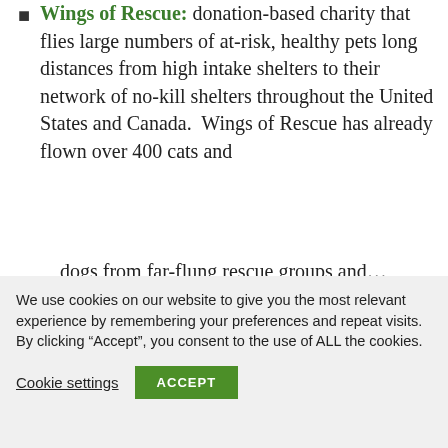Wings of Rescue: donation-based charity that flies large numbers of at-risk, healthy pets long distances from high intake shelters to their network of no-kill shelters throughout the United States and Canada. Wings of Rescue has already flown over 400 cats and dogs from...
We use cookies on our website to give you the most relevant experience by remembering your preferences and repeat visits. By clicking "Accept", you consent to the use of ALL the cookies.
Cookie settings    ACCEPT